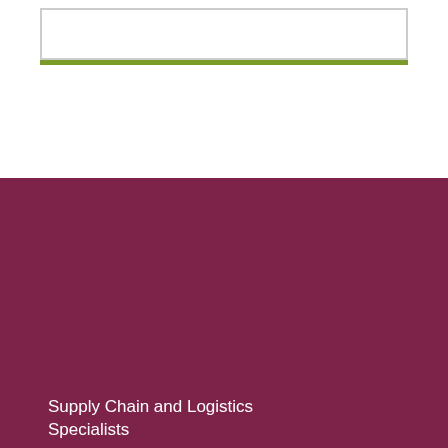[Figure (logo): Company logo box with green underline bar]
Supply Chain and Logistics Specialists
Call us on +44(0) 1926 430 883
Supply chain and Logistics Specialists highly experienced in all aspects of Supply Chain and Logistics Operations